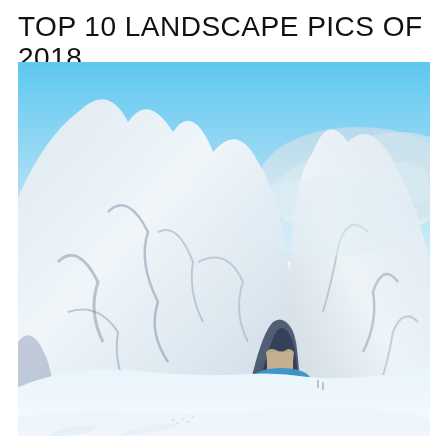TOP 10 LANDSCAPE PICS OF 2018
[Figure (photo): A winter alpine landscape photograph showing snow-covered mountains with a dam and partially frozen blue lake nestled in a valley below, under a clear bright blue sky. The scene features steep rocky ridges blanketed in heavy snow on the left and right, with a wide snow-covered plain in the foreground and distant mountain ranges visible in the background.]